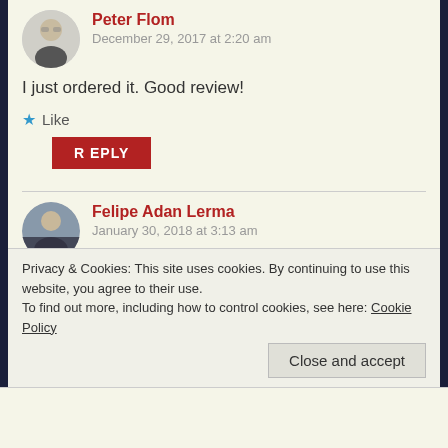Peter Flom
December 29, 2017 at 2:20 am
I just ordered it. Good review!
Like
REPLY
Felipe Adan Lerma
January 30, 2018 at 3:13 am
I still – mentally if nothing else – refer back to Rayne's book (over a yr ago). Also highly recommend! Good
Privacy & Cookies: This site uses cookies. By continuing to use this website, you agree to their use.
To find out more, including how to control cookies, see here: Cookie Policy
Close and accept